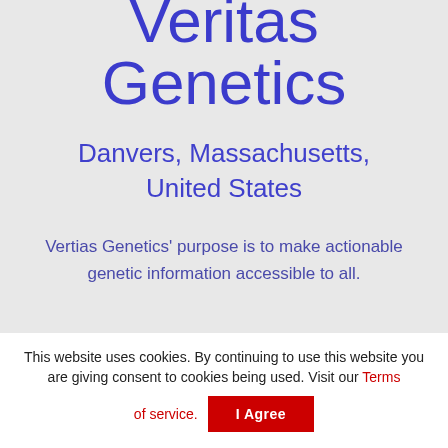Veritas Genetics
Danvers, Massachusetts, United States
Vertias Genetics' purpose is to make actionable genetic information accessible to all.
This website uses cookies. By continuing to use this website you are giving consent to cookies being used. Visit our Terms of service.